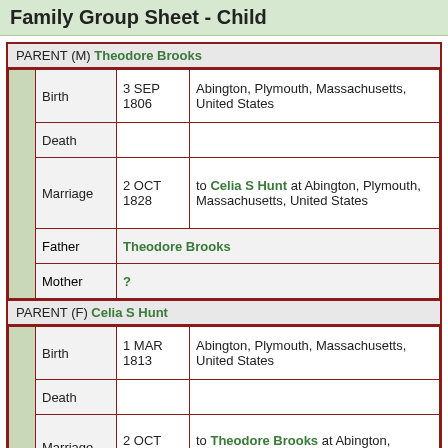Family Group Sheet - Child
|  | Field | Date | Detail |
| --- | --- | --- | --- |
| PARENT (M) Theodore Brooks |  |  |  |
|  | Birth | 3 SEP 1806 | Abington, Plymouth, Massachusetts, United States |
|  | Death |  |  |
|  | Marriage | 2 OCT 1828 | to Celia S Hunt at Abington, Plymouth, Massachusetts, United States |
|  | Father |  | Theodore Brooks |
|  | Mother |  | ? |
| PARENT (F) Celia S Hunt |  |  |  |
|  | Birth | 1 MAR 1813 | Abington, Plymouth, Massachusetts, United States |
|  | Death |  |  |
|  | Marriage | 2 OCT 1828 | to Theodore Brooks at Abington, Plymouth, Massachusetts, United States |